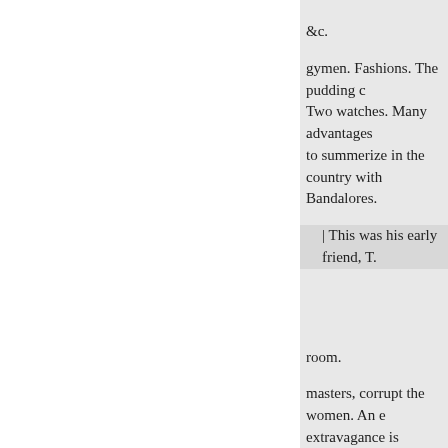&c.
gymen. Fashions. The pudding c Two watches. Many advantages to summerize in the country with Bandalores.
| This was his early friend, T.
room.
masters, corrupt the women. An extravagance is excited. The sow towns, rurgical uses.—R. B. Adm
GONDOMAR bade a Spanish own country remember him mo since he purgatory, of a cheerful do they not produce a good find
FANATICS at Newbury. — Ae oppressions and cruelty. The Eas
GARSTANG.–Cyclopædia. ri
"Regnum Diabolorum," was a
rascals ; there plied to England